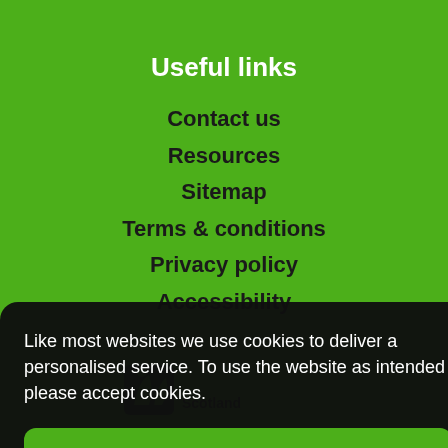Useful links
Contact us
Resources
Sitemap
Terms & conditions
Privacy policy
Accessibility
Login
Like most websites we use cookies to deliver a personalised service. To use the website as intended please accept cookies.
Accept Cookies
[Figure (logo): Greenspace Scotland logo with stylized leaf/figure mark in dark teal and green text]
Jubilee House, Forthside Way, Stirling FK8 1QZ